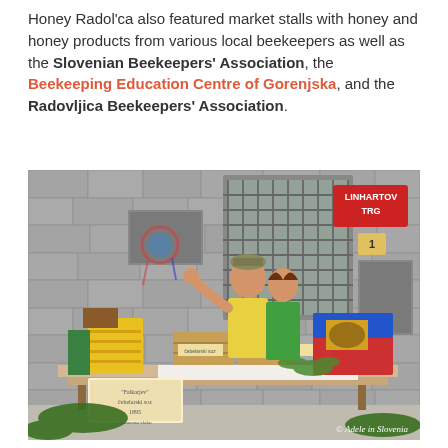Honey Radol'ca also featured market stalls with honey and honey products from various local beekeepers as well as the Slovenian Beekeepers' Association, the Beekeeping Education Centre of Gorenjska, and the Radovljica Beekeepers' Association.
[Figure (photo): Two people standing behind a market stall displaying honey products, wooden crates, and colorful beehives (yellow, green, blue, red) in front of a stone building with a 'Linhartov Trg' street sign. Photo credit: Adele in Slovenia.]